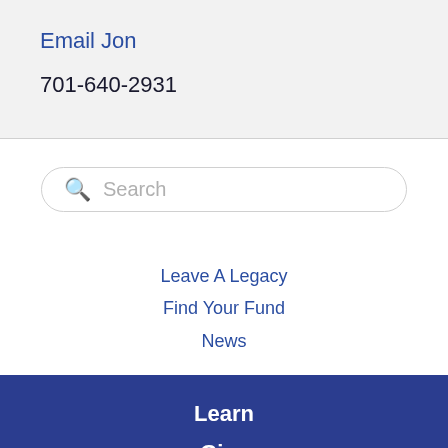Email Jon
701-640-2931
[Figure (other): Search bar with magnifying glass icon and placeholder text 'Search']
Leave A Legacy
Find Your Fund
News
Learn
Give
Receive